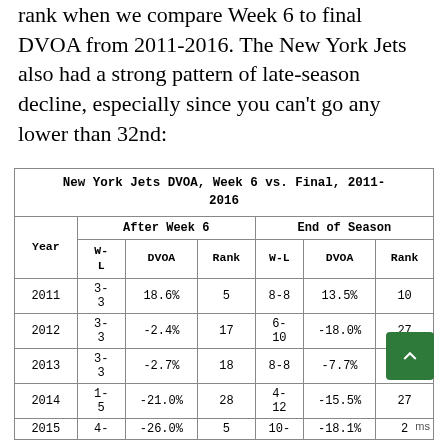rank when we compare Week 6 to final DVOA from 2011-2016. The New York Jets also had a strong pattern of late-season decline, especially since you can't go any lower than 32nd:
| New York Jets DVOA, Week 6 vs. Final, 2011-2016 |  |  |  |  |  |  |
| --- | --- | --- | --- | --- | --- | --- |
| Year | W-L | DVOA | Rank | W-L | DVOA | Rank |
| 2011 | 3-3 | 18.6% | 5 | 8-8 | 13.5% | 10 |
| 2012 | 3-3 | -2.4% | 17 | 6-10 | -18.0% | 27 |
| 2013 | 3-3 | -2.7% | 18 | 8-8 | -7.7% | 2- |
| 2014 | 1-5 | -21.0% | 28 | 4-12 | -15.5% | 27 |
| 2015 | 4- | -26.0% | 5 | 10- | -18.1% | 2 |